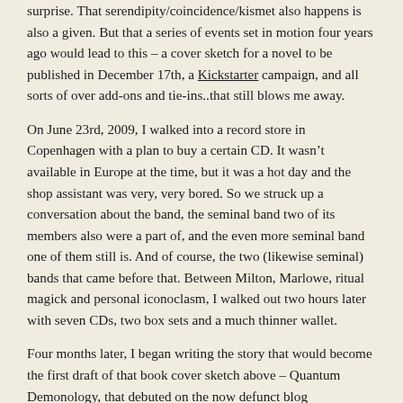surprise. That serendipity/coincidence/kismet also happens is also a given. But that a series of events set in motion four years ago would lead to this – a cover sketch for a novel to be published in December 17th, a Kickstarter campaign, and all sorts of over add-ons and tie-ins..that still blows me away.
On June 23rd, 2009, I walked into a record store in Copenhagen with a plan to buy a certain CD. It wasn't available in Europe at the time, but it was a hot day and the shop assistant was very, very bored. So we struck up a conversation about the band, the seminal band two of its members also were a part of, and the even more seminal band one of them still is. And of course, the two (likewise seminal) bands that came before that. Between Milton, Marlowe, ritual magick and personal iconoclasm, I walked out two hours later with seven CDs, two box sets and a much thinner wallet.
Four months later, I began writing the story that would become the first draft of that book cover sketch above – Quantum Demonology, that debuted on the now defunct blog MoltenMetalMama and later moved to its own – first on